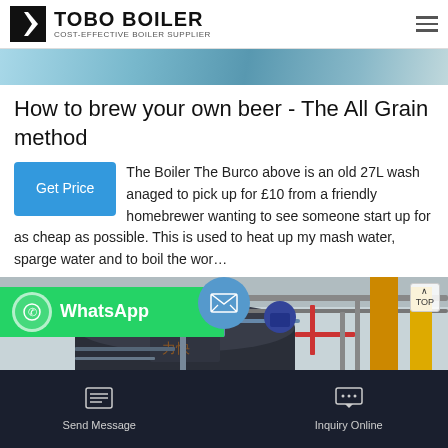TOBO BOILER - COST-EFFECTIVE BOILER SUPPLIER
[Figure (photo): Light-blue industrial/abstract hero banner strip]
How to brew your own beer - The All Grain method
The Boiler The Burco above is an old 27L wash managed to pick up for £10 from a friendly homebrewer wanting to see someone start up for as cheap as possible. This is used to heat up my mash water, sparge water and to boil the wor…
[Figure (photo): Industrial boiler room with large cylindrical boilers, pipes and yellow structural columns]
[Figure (screenshot): WhatsApp contact banner (green) and email circle button overlay]
Send Message | Inquiry Online